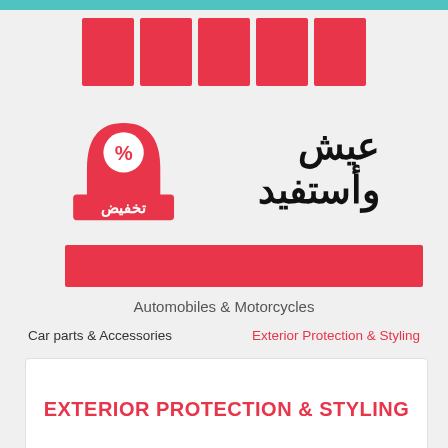[Figure (logo): Takhfeed logo with Arabic text and discount percentage symbol, red color scheme, with Arabic text عيش وأستفيد beside it]
Automobiles & Motorcycles
Car parts & Accessories    Exterior Protection & Styling
EXTERIOR PROTECTION & STYLING